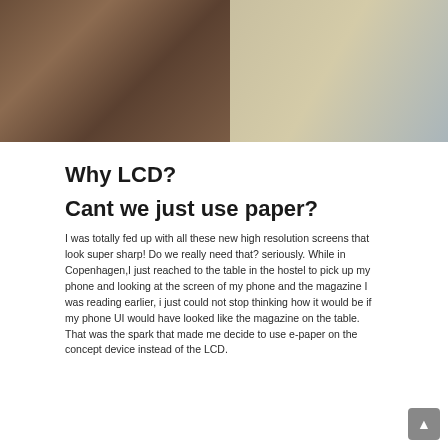[Figure (photo): Photo showing a magazine with 'of these?' text, a smartphone resting on it, and a dark wooden surface to the left. Partial newspaper/magazine column visible on the right edge.]
Why LCD?
Cant we just use paper?
I was totally fed up with all these new high resolution screens that look super sharp! Do we really need that? seriously. While in Copenhagen,I just reached to the table in the hostel to pick up my phone and looking at the screen of my phone and the magazine I was reading earlier, i just could not stop thinking how it would be if my phone UI would have looked like the magazine on the table. That was the spark that made me decide to use e-paper on the concept device instead of the LCD.